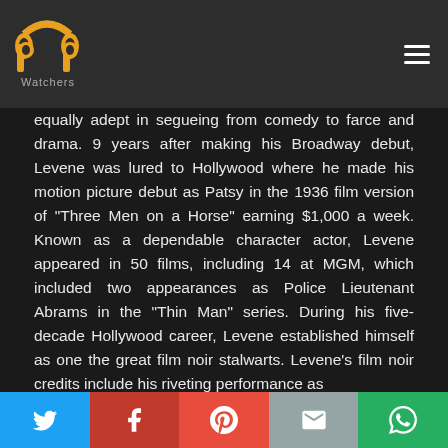[Figure (logo): PP Watchers logo - two yellow/orange PP letters with Watchers text below]
equally adept in segueing from comedy to farce and drama. 9 years after making his Broadway debut, Levene was lured to Hollywood where he made his motion picture debut as Patsy in the 1936 film version of "Three Men on a Horse" earning $1,000 a week. Known as a dependable character actor, Levene appeared in 50 films, including 14 at MGM, which included two appearances as Police Lieutenant Abrams in the "Thin Man" series. During his five-decade Hollywood career, Levene established himself as one the great film noir stalwarts. Levene's film noir credits include his riveting performance as
[Figure (infographic): Social media sharing bar with Twitter (blue), Facebook (red), Pinterest (red), Email (grey), WhatsApp (green) buttons]